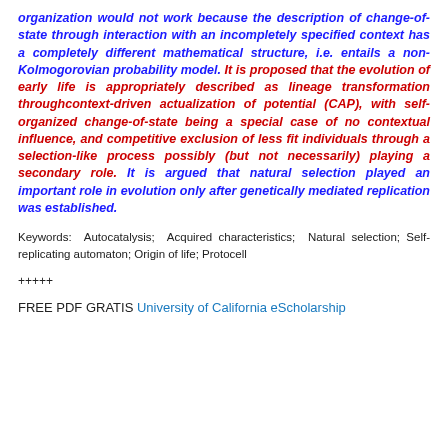organization would not work because the description of change-of-state through interaction with an incompletely specified context has a completely different mathematical structure, i.e. entails a non-Kolmogorovian probability model. It is proposed that the evolution of early life is appropriately described as lineage transformation throughcontext-driven actualization of potential (CAP), with self-organized change-of-state being a special case of no contextual influence, and competitive exclusion of less fit individuals through a selection-like process possibly (but not necessarily) playing a secondary role. It is argued that natural selection played an important role in evolution only after genetically mediated replication was established.
Keywords: Autocatalysis; Acquired characteristics; Natural selection; Self-replicating automaton; Origin of life; Protocell
+++++
FREE PDF GRATIS University of California eScholarship